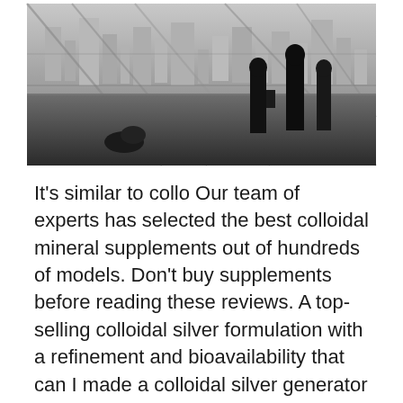[Figure (photo): Black and white photograph of silhouetted people standing in a modern glass-walled building overlooking a cityscape, with a reflective floor.]
It's similar to collo Our team of experts has selected the best colloidal mineral supplements out of hundreds of models. Don't buy supplements before reading these reviews. A top-selling colloidal silver formulation with a refinement and bioavailability that can I made a colloidal silver generator that operates on 31.8 volts at .30 ma . It works good but I hate cleaning the electrodes every hour. How can I add a automatic switching device to swap power to my anode & cathode reversing power e The Status of Over-the-Counter (OTC) Rulemakings contains the